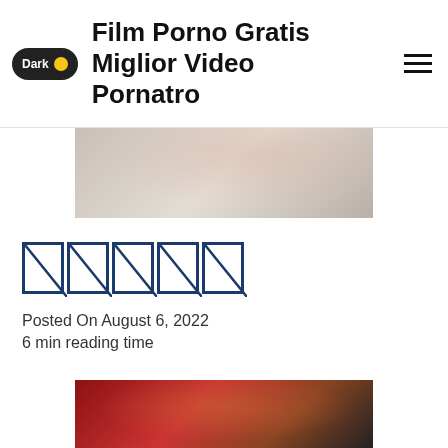Film Porno Gratis Miglior Video Pornatro
[Figure (photo): Partial view of a person wearing a white floral kimono/robe, cropped]
□□□□□
Posted On August 6, 2022
6 min reading time
[Figure (photo): Partial view of a person with red clothing/fan, dark background]